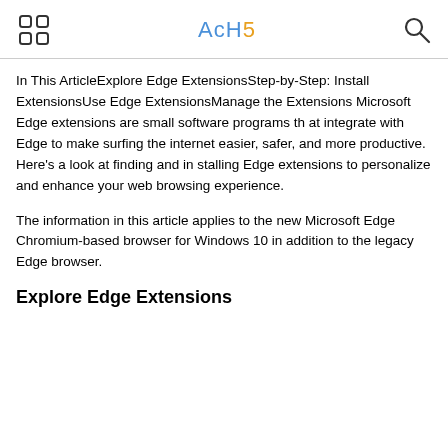AcH5
In This ArticleExplore Edge ExtensionsStep-by-Step: Install ExtensionsUse Edge ExtensionsManage the Extensions Microsoft Edge extensions are small software programs that integrate with Edge to make surfing the internet easier, safer, and more productive. Here's a look at finding and installing Edge extensions to personalize and enhance your web browsing experience.
The information in this article applies to the new Microsoft Edge Chromium-based browser for Windows 10 in addition to the legacy Edge browser.
Explore Edge Extensions